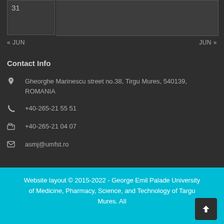| 31 |  |
« JUN      JUN »
Contact Info
Gheorghe Marinescu street no.38, Tirgu Mures, 540139, ROMANIA
+40-265-21 55 51
+40-265-21 04 07
asmj@umfst.ro
Website layout © 2015-2022 - George Emil Palade University of Medicine, Pharmacy, Science, and Technology of Targu Mures. All